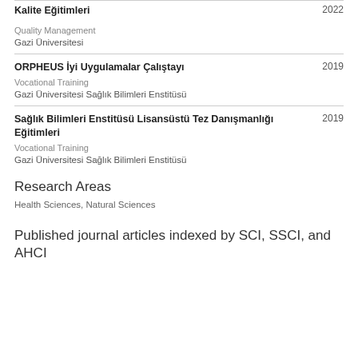Kalite Eğitimleri 2022
Quality Management
Gazi Üniversitesi
ORPHEUS İyi Uygulamalar Çalıştayı 2019
Vocational Training
Gazi Üniversitesi Sağlık Bilimleri Enstitüsü
Sağlık Bilimleri Enstitüsü Lisansüstü Tez Danışmanlığı Eğitimleri 2019
Vocational Training
Gazi Üniversitesi Sağlık Bilimleri Enstitüsü
Research Areas
Health Sciences, Natural Sciences
Published journal articles indexed by SCI, SSCI, and AHCI